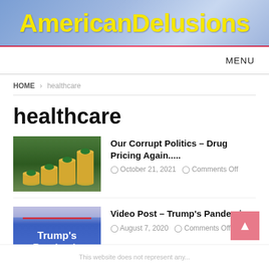AmericanDelusions
MENU
HOME > healthcare
healthcare
[Figure (photo): Thumbnail image of stacked coins with green capsule pills on top, representing drug pricing]
Our Corrupt Politics – Drug Pricing Again.....
October 21, 2021   Comments Off
[Figure (photo): Thumbnail image with blue background reading Trump's Pandemic in white text]
Video Post – Trump's Pandemic
August 7, 2020   Comments Off
This website does not represent any...